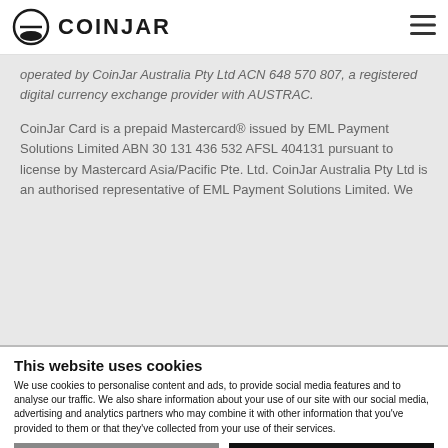COINJAR
operated by CoinJar Australia Pty Ltd ACN 648 570 807, a registered digital currency exchange provider with AUSTRAC.
CoinJar Card is a prepaid Mastercard® issued by EML Payment Solutions Limited ABN 30 131 436 532 AFSL 404131 pursuant to license by Mastercard Asia/Pacific Pte. Ltd. CoinJar Australia Pty Ltd is an authorised representative of EML Payment Solutions Limited. We
This website uses cookies
We use cookies to personalise content and ads, to provide social media features and to analyse our traffic. We also share information about your use of our site with our social media, advertising and analytics partners who may combine it with other information that you've provided to them or that they've collected from your use of their services.
Use necessary cookies only
Allow all cookies
Show details